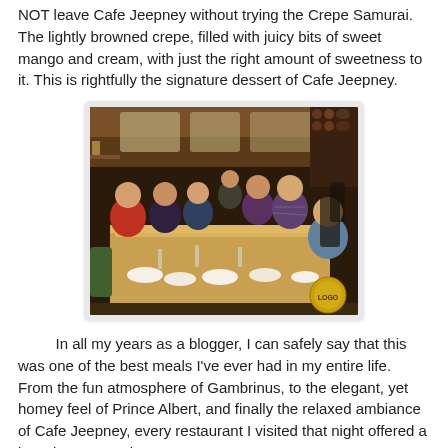NOT leave Cafe Jeepney without trying the Crepe Samurai. The lightly browned crepe, filled with juicy bits of sweet mango and cream, with just the right amount of sweetness to it. This is rightfully the signature dessert of Cafe Jeepney.
[Figure (photo): Group of people dining at a long table in a restaurant with warm lighting, wine racks visible in the background. A circular logo/badge appears in the bottom-right corner of the photo.]
In all my years as a blogger, I can safely say that this was one of the best meals I've ever had in my entire life. From the fun atmosphere of Gambrinus, to the elegant, yet homey feel of Prince Albert, and finally the relaxed ambiance of Cafe Jeepney, every restaurant I visited that night offered a brand new experience.